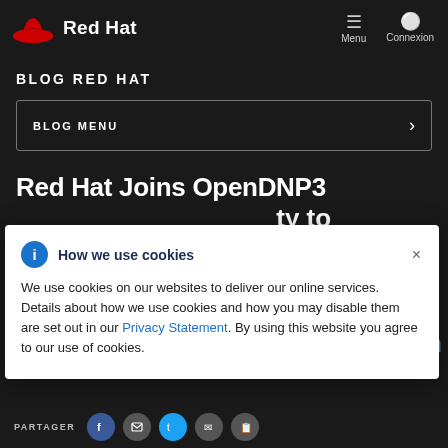[Figure (logo): Red Hat logo with red hat icon and bold white 'Red Hat' text]
Menu  Connexion
BLOG RED HAT
BLOG MENU >
Red Hat Joins OpenDNP3 ...ty to ...ustry ...s
How we use cookies
We use cookies on our websites to deliver our online services. Details about how we use cookies and how you may disable them are set out in our Privacy Statement. By using this website you agree to our use of cookies.
Team
PARTAGER